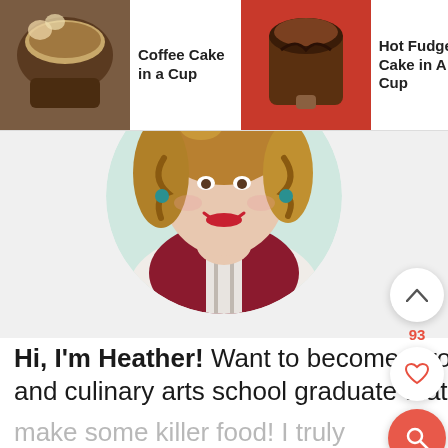[Figure (screenshot): Top navigation bar with food recipe thumbnails: Coffee Cake in a Cup, Hot Fudge Cake in A Cup, Pumpkin Spice Waffles w/ Praline]
[Figure (photo): Circular cropped portrait photo of a smiling woman with curly blonde hair wearing a dark red top and a white apron]
[Figure (other): Chevron up button, heart/like button with count 93, and orange search button on right side]
Hi, I'm Heather! Want to become a rockstar cook? I'm a former chef, caterer, and culinary arts school graduate that just wants to help you make some killer food! I truly believe